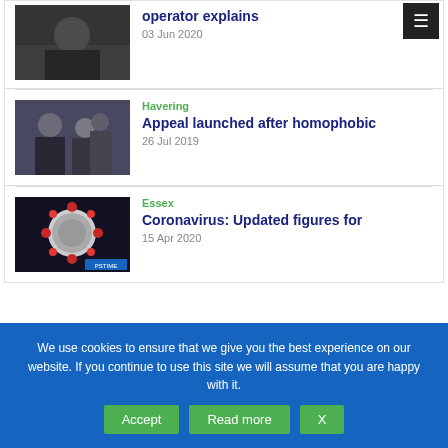operator explains — 03 Jun 2020
Havering — Appeal launched after homophobic — 26 Jul 2019
Essex — Coronavirus: Updated figures for — 15 Apr 2020
We use cookies to ensure that we give you the best experience on our website. If you continue to use this site we will assume that you are happy with it.
Accept | Read more | X